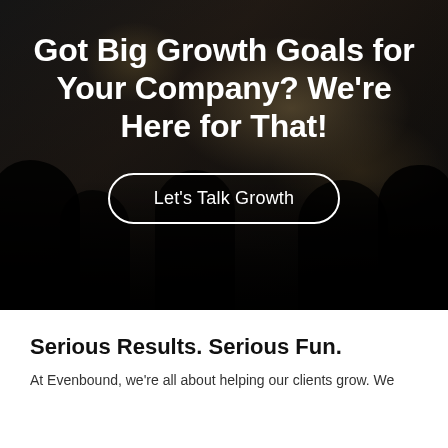[Figure (photo): Dark-toned photo of a group of people in a meeting or workshop setting, with chairs, laptops, and a presentation board visible. Heavy dark overlay applied.]
Got Big Growth Goals for Your Company? We're Here for That!
Let's Talk Growth
Serious Results. Serious Fun.
At Evenbound, we're all about helping our clients grow. We